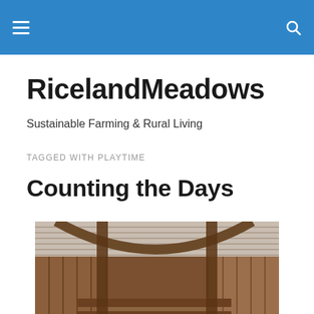RicelandMeadows — site navigation header with hamburger menu and search icon
RicelandMeadows
Sustainable Farming & Rural Living
TAGGED WITH PLAYTIME
Counting the Days
[Figure (photo): Interior of a wooden barn with rough-hewn timber beams and corrugated metal roof. Wooden pen walls visible, warm brown tones throughout. Partial view of an animal at the bottom of the frame.]